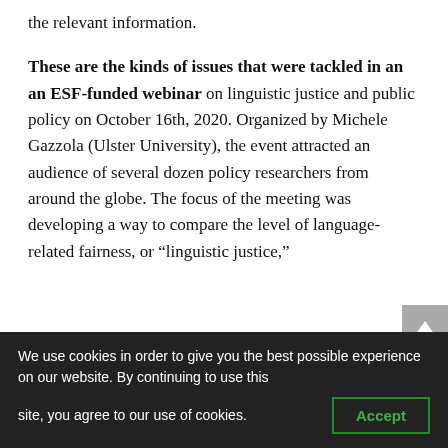the relevant information.
These are the kinds of issues that were tackled in an an ESF-funded webinar on linguistic justice and public policy on October 16th, 2020. Organized by Michele Gazzola (Ulster University), the event attracted an audience of several dozen policy researchers from around the globe. The focus of the meeting was developing a way to compare the level of language-related fairness, or “linguistic justice,” in different regions and countries. Social...
We use cookies in order to give you the best possible experience on our website. By continuing to use this site, you agree to our use of cookies.